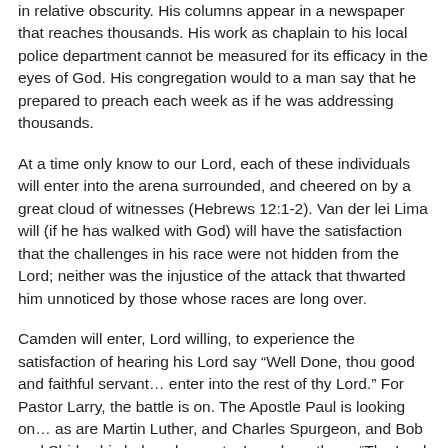in relative obscurity. His columns appear in a newspaper that reaches thousands. His work as chaplain to his local police department cannot be measured for its efficacy in the eyes of God. His congregation would to a man say that he prepared to preach each week as if he was addressing thousands.
At a time only know to our Lord, each of these individuals will enter into the arena surrounded, and cheered on by a great cloud of witnesses (Hebrews 12:1-2). Van der lei Lima will (if he has walked with God) will have the satisfaction that the challenges in his race were not hidden from the Lord; neither was the injustice of the attack that thwarted him unnoticed by those whose races are long over.
Camden will enter, Lord willing, to experience the satisfaction of hearing his Lord say “Well Done, thou good and faithful servant… enter into the rest of thy Lord.” For Pastor Larry, the battle is on. The Apostle Paul is looking on… as are Martin Luther, and Charles Spurgeon, and Bob and Shirley his beloved parents. I can hear them. “The Lord is your portion… you are going to make it!”